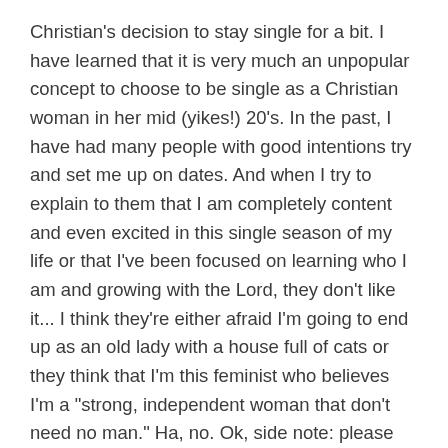Christian's decision to stay single for a bit. I have learned that it is very much an unpopular concept to choose to be single as a Christian woman in her mid (yikes!) 20's. In the past, I have had many people with good intentions try and set me up on dates. And when I try to explain to them that I am completely content and even excited in this single season of my life or that I've been focused on learning who I am and growing with the Lord, they don't like it... I think they're either afraid I'm going to end up as an old lady with a house full of cats or they think that I'm this feminist who believes I'm a "strong, independent woman that don't need no man." Ha, no. Ok, side note: please believe that when the right man of God comes along, I will not be opposed!

But, awhile back I felt the Lord so clearly ask me to